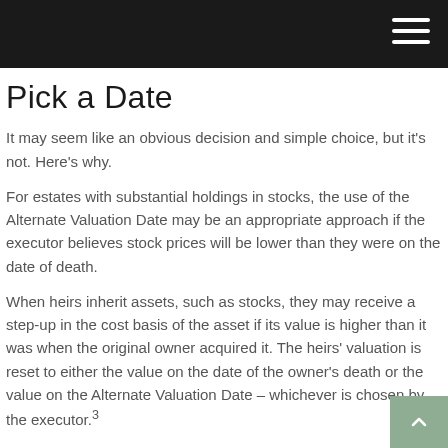Pick a Date
It may seem like an obvious decision and simple choice, but it's not. Here's why.
For estates with substantial holdings in stocks, the use of the Alternate Valuation Date may be an appropriate approach if the executor believes stock prices will be lower than they were on the date of death.
When heirs inherit assets, such as stocks, they may receive a step-up in the cost basis of the asset if its value is higher than it was when the original owner acquired it. The heirs' valuation is reset to either the value on the date of the owner's death or the value on the Alternate Valuation Date – whichever is chosen by the executor.³